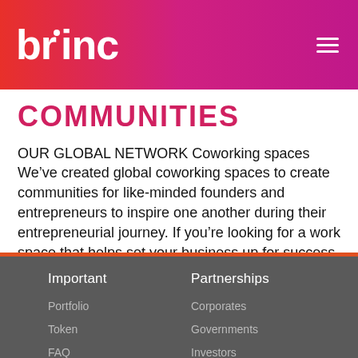brinc
COMMUNITIES
OUR GLOBAL NETWORK Coworking spaces We’ve created global coworking spaces to create communities for like-minded founders and entrepreneurs to inspire one another during their entrepreneurial journey. If you’re looking for a work space that helps set your business up for success, keeps your overhead costs low, encourages creativity, access to local and global startup networks, […]
Important
Portfolio
Token
FAQ
Partnerships
Corporates
Governments
Investors